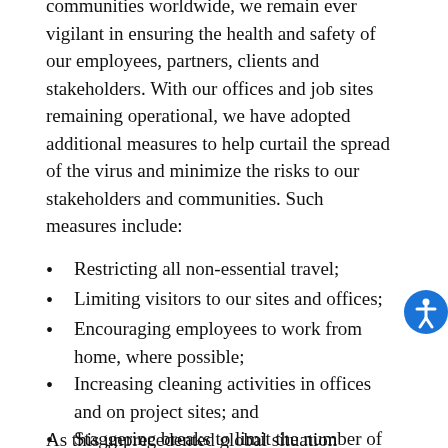communities worldwide, we remain ever vigilant in ensuring the health and safety of our employees, partners, clients and stakeholders. With our offices and job sites remaining operational, we have adopted additional measures to help curtail the spread of the virus and minimize the risks to our stakeholders and communities. Such measures include:
Restricting all non-essential travel;
Limiting visitors to our sites and offices;
Encouraging employees to work from home, where possible;
Increasing cleaning activities in offices and on project sites; and
Staggering breaks to limit the number of people gathered together at one time.
As this unprecedented global situation evolves